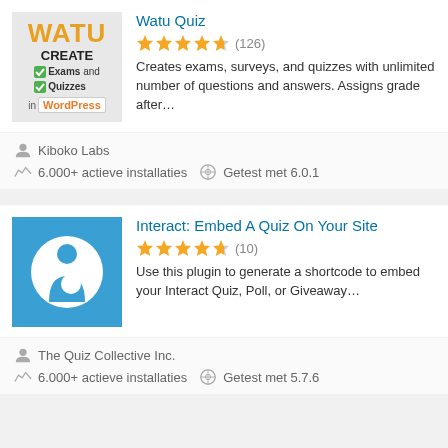[Figure (screenshot): Watu Quiz plugin card with logo showing WATU text, CREATE Exams and Quizzes in WordPress]
Watu Quiz
4.5 stars (126)
Creates exams, surveys, and quizzes with unlimited number of questions and answers. Assigns grade after…
Kiboko Labs
6.000+ actieve installaties   Getest met 6.0.1
[Figure (logo): Interact plugin logo: blue square with white 'i' person icon]
Interact: Embed A Quiz On Your Site
4.5 stars (10)
Use this plugin to generate a shortcode to embed your Interact Quiz, Poll, or Giveaway…
The Quiz Collective Inc.
6.000+ actieve installaties   Getest met 5.7.6